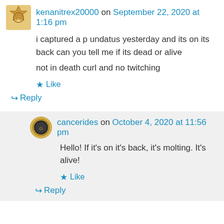kenanitrex20000 on September 22, 2020 at 1:16 pm
i captured a p undatus yesterday and its on its back can you tell me if its dead or alive
not in death curl and no twitching
Like
Reply
cancerides on October 4, 2020 at 11:56 pm
Hello! If it's on it's back, it's molting. It's alive!
Like
Reply